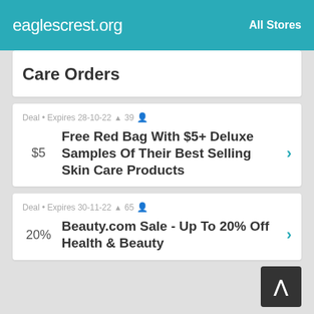eaglescrest.org   All Stores
Care Orders
Deal • Expires 28-10-22 🔔 39 👤
Free Red Bag With $5+ Deluxe Samples Of Their Best Selling Skin Care Products
Deal • Expires 30-11-22 🔔 65 👤
Beauty.com Sale - Up To 20% Off Health & Beauty